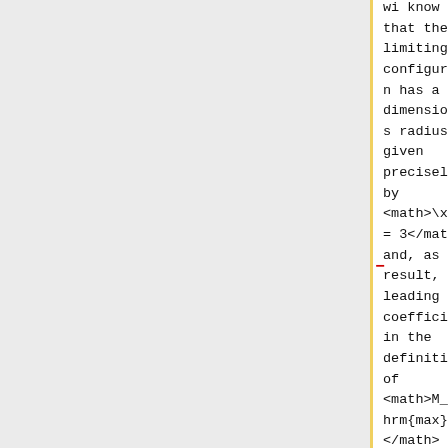that the limiting configuration has a dimensionless radius given precisely by <math>\xi_e = 3</math>; and, as a result, the leading coefficient in the definition of <math>M_\mathrm{max}</math> is
we know that the limiting configuration has a dimensionless radius given precisely by <math>~\xi_e = 3</math>; and, as a result, the leading coefficient in the definition of <math>~M_\ma